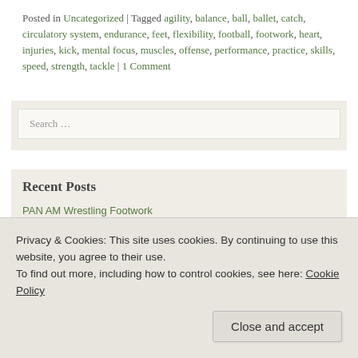Posted in Uncategorized | Tagged agility, balance, ball, ballet, catch, circulatory system, endurance, feet, flexibility, football, footwork, heart, injuries, kick, mental focus, muscles, offense, performance, practice, skills, speed, strength, tackle | 1 Comment
Search ...
Recent Posts
PAN AM Wrestling Footwork
PAN AM Weightlifting Footwork
Privacy & Cookies: This site uses cookies. By continuing to use this website, you agree to their use.
To find out more, including how to control cookies, see here: Cookie Policy
Close and accept